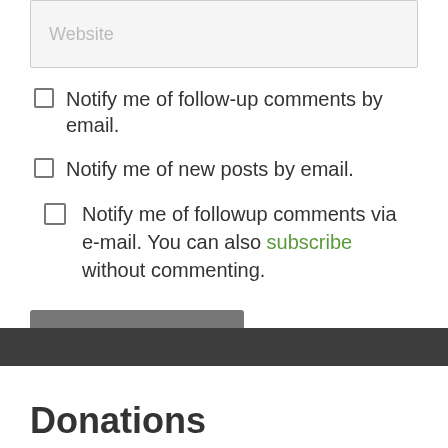Website
Notify me of follow-up comments by email.
Notify me of new posts by email.
Notify me of followup comments via e-mail. You can also subscribe without commenting.
Post Comment
Donations